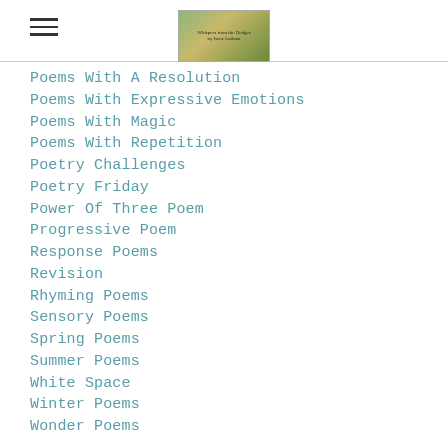Whispers from the Hedges - navigation menu with hamburger icon and logo
Poems With A Resolution
Poems With Expressive Emotions
Poems With Magic
Poems With Repetition
Poetry Challenges
Poetry Friday
Power Of Three Poem
Progressive Poem
Response Poems
Revision
Rhyming Poems
Sensory Poems
Spring Poems
Summer Poems
White Space
Winter Poems
Wonder Poems